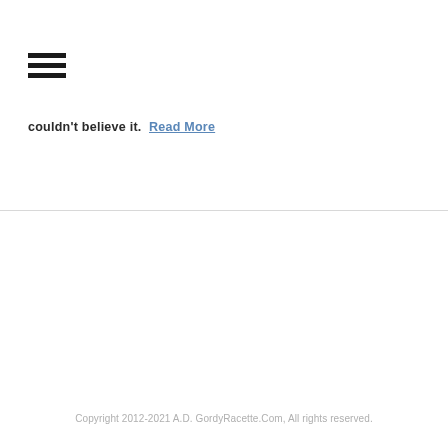[Figure (other): Hamburger menu icon with three horizontal black bars]
couldn't believe it.  Read More
Copyright 2012-2021 A.D. GordyRacette.Com, All rights reserved.